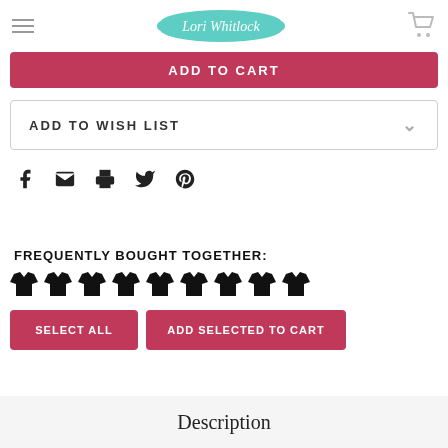Lori Whitlock
ADD TO CART
ADD TO WISH LIST
[Figure (infographic): Social sharing icons: Facebook, email, print, Twitter, Pinterest]
FREQUENTLY BOUGHT TOGETHER:
[Figure (infographic): Row of 9 shirt/t-shirt icons indicating frequently bought together products]
SELECT ALL
ADD SELECTED TO CART
Description